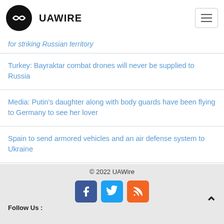UAWIRE
for striking Russian territory
Turkey: Bayraktar combat drones will never be supplied to Russia
Media: Putin's daughter along with body guards have been flying to Germany to see her lover
Spain to send armored vehicles and an air defense system to Ukraine
On Ukrainian Independence Day Lukashenko wishes Ukraine 'peaceful skies, courage and tolerance'
© 2022 UAWire
Follow Us :